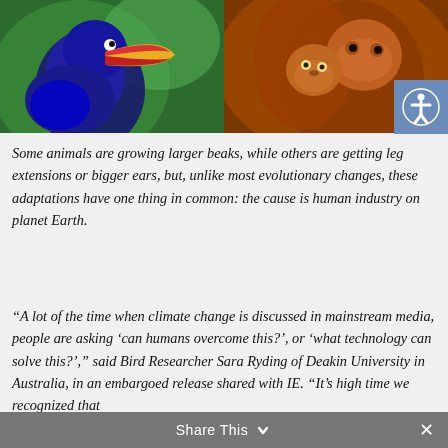[Figure (photo): Two wildlife photos side by side: left shows a colorful toucan with blue and red/yellow beak; right shows an adult orangutan with a baby]
Some animals are growing larger beaks, while others are getting leg extensions or bigger ears, but, unlike most evolutionary changes, these adaptations have one thing in common: the cause is human industry on planet Earth.
“A lot of the time when climate change is discussed in mainstream media, people are asking ‘can humans overcome this?’, or ‘what technology can solve this?’,” said Bird Researcher Sara Ryding of Deakin University in Australia, in an embargoed release shared with IE. “It’s high time we recognized that